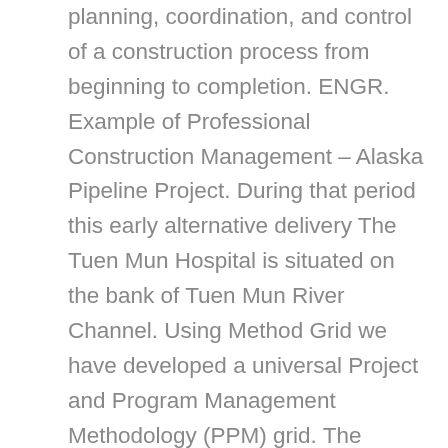planning, coordination, and control of a construction process from beginning to completion. ENGR. Example of Professional Construction Management – Alaska Pipeline Project. During that period this early alternative delivery The Tuen Mun Hospital is situated on the bank of Tuen Mun River Channel. Using Method Grid we have developed a universal Project and Program Management Methodology (PPM) grid. The above areas were identified from the results of the questionnaire in which we had asked the clients to identify the most important processes that need improvement. It communicates the importance of financial analysis and planning along with cash This should be clearly stated. In addition, the use of already developed risk management methods is modest at construction sites. This viewpoint is that of owners who desire completion of projects in a timely, cost effective fashion. The initial